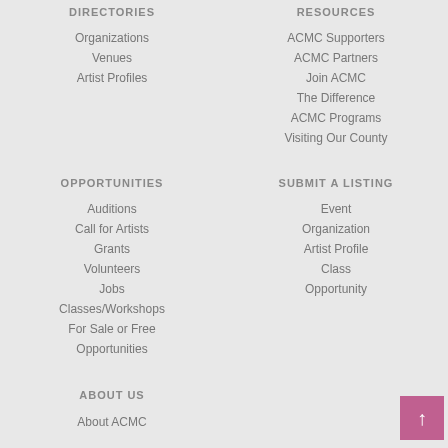DIRECTORIES
Organizations
Venues
Artist Profiles
RESOURCES
ACMC Supporters
ACMC Partners
Join ACMC
The Difference
ACMC Programs
Visiting Our County
OPPORTUNITIES
Auditions
Call for Artists
Grants
Volunteers
Jobs
Classes/Workshops
For Sale or Free
Opportunities
SUBMIT A LISTING
Event
Organization
Artist Profile
Class
Opportunity
ABOUT US
About ACMC